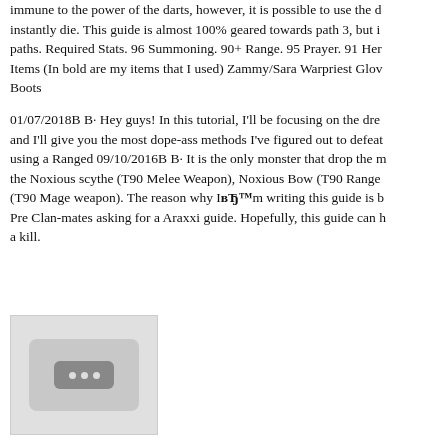immune to the power of the darts, however, it is possible to use the d instantly die. This guide is almost 100% geared towards path 3, but i paths. Required Stats. 96 Summoning. 90+ Range. 95 Prayer. 91 Her Items (In bold are my items that I used) Zammy/Sara Warpriest Glov Boots
01/07/2018B B· Hey guys! In this tutorial, I'll be focusing on the dre and I'll give you the most dope-ass methods I've figured out to defeat using a Ranged 09/10/2016B B· It is the only monster that drop the m the Noxious scythe (T90 Melee Weapon), Noxious Bow (T90 Range (T90 Mage weapon). The reason why IвЂ™m writing this guide is b Pre Clan-mates asking for a Araxxi guide. Hopefully, this guide can h a kill.
[Figure (photo): Placeholder image with a dark rounded rectangle containing three white dots, on a light grey background with a border.]
...